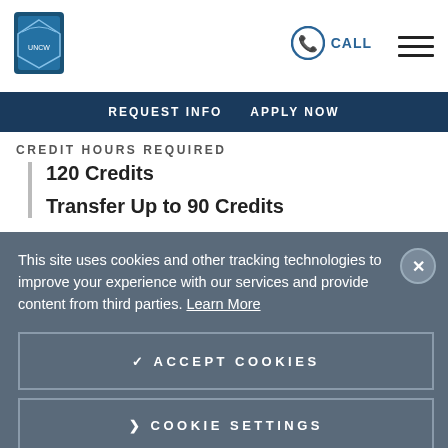University logo, CALL, hamburger menu
REQUEST INFO  APPLY NOW
CREDIT HOURS REQUIRED
120 Credits
Transfer Up to 90 Credits
This site uses cookies and other tracking technologies to improve your experience with our services and provide content from third parties. Learn More
✓ ACCEPT COOKIES
❯ COOKIE SETTINGS